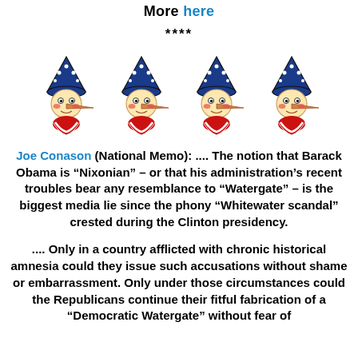More here
****
[Figure (illustration): Four Pinocchio figures wearing red-white-and-blue star-spangled hats with long noses, dressed in patriotic clothing, arranged in a row.]
Joe Conason (National Memo): .... The notion that Barack Obama is “Nixonian” – or that his administration’s recent troubles bear any resemblance to “Watergate” – is the biggest media lie since the phony “Whitewater scandal” crested during the Clinton presidency.
.... Only in a country afflicted with chronic historical amnesia could they issue such accusations without shame or embarrassment. Only under those circumstances could the Republicans continue their fitful fabrication of a “Democratic Watergate” without fear of